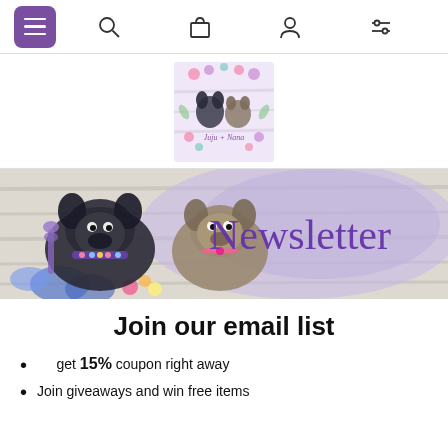Navigation bar with menu, search, cart, account, and filter icons
[Figure (logo): Juju + Nana brand logo showing two dogs (French bulldog and pug) surrounded by floral decorations with text 'Juju + Nana']
[Figure (photo): Newsletter banner image showing two dogs with flowers and text 'Newsletter' in purple]
Join our email list
get 15% coupon right away
Join giveaways and win free items